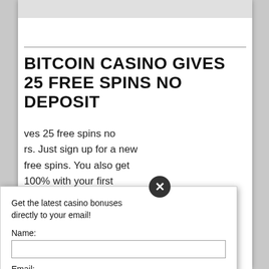BITCOIN CASINO GIVES 25 FREE SPINS NO DEPOSIT
ves 25 free spins no rs. Just sign up for a new free spins. You also get 100% with your first e your first deposit, you acter you are if you want o reload bonus on all
ns no deposit
o get 100% bonus
[Figure (other): Email signup popup overlay with Name and Email fields, red SIGN UP NOW! button, privacy policy text, and AWeber branding. Includes a close (X) button at the top.]